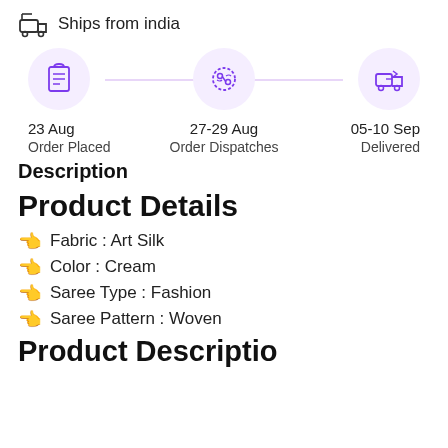Ships from india
[Figure (infographic): Order timeline with three steps: package icon (23 Aug, Order Placed), dispatch icon (27-29 Aug, Order Dispatches), delivery truck icon (05-10 Sep, Delivered), connected by a horizontal line.]
Description
Product Details
Fabric : Art Silk
Color : Cream
Saree Type : Fashion
Saree Pattern : Woven
Product Description